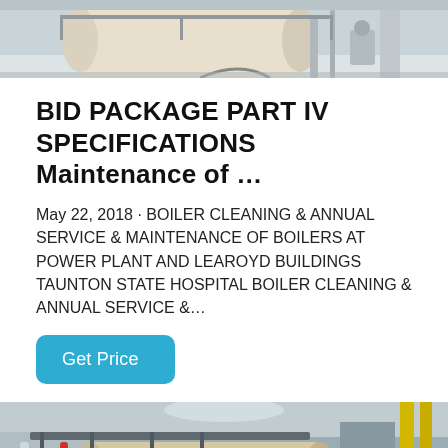[Figure (photo): Top portion of a boiler room/power plant interior, showing industrial equipment, piping, and structural elements. Light gray and beige tones.]
BID PACKAGE PART IV SPECIFICATIONS Maintenance of …
May 22, 2018 · BOILER CLEANING & ANNUAL SERVICE & MAINTENANCE OF BOILERS AT POWER PLANT AND LEAROYD BUILDINGS TAUNTON STATE HOSPITAL BOILER CLEANING & ANNUAL SERVICE &…
Get Price
[Figure (photo): Lower portion of a boiler room showing industrial boilers, metal walkways/railings, red and orange pipes, and a technician in blue overalls inspecting equipment. Yellow vertical pipes visible on right.]